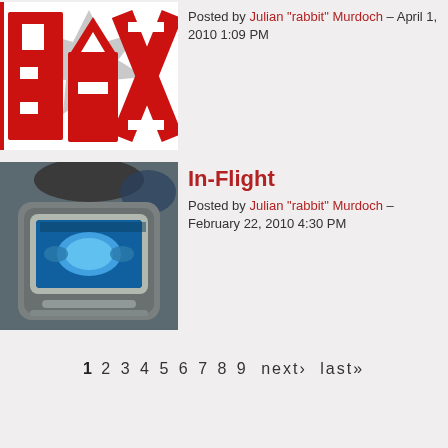[Figure (photo): PAX logo with red letters and grey shuriken star on white background]
Posted by Julian "rabbit" Murdoch – April 1, 2010 1:09 PM
[Figure (photo): Airplane seat-back entertainment screen showing a blue game interface]
In-Flight
Posted by Julian "rabbit" Murdoch – February 22, 2010 4:30 PM
1 2 3 4 5 6 7 8 9 next› last»